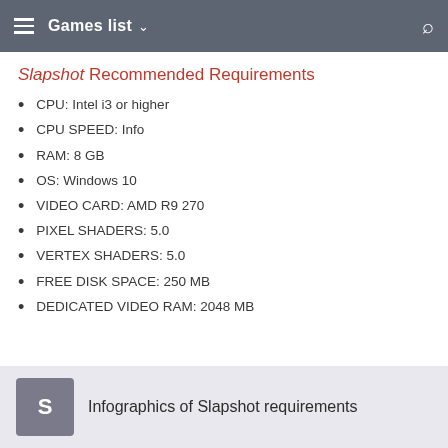Games list
Slapshot Recommended Requirements
CPU: Intel i3 or higher
CPU SPEED: Info
RAM: 8 GB
OS: Windows 10
VIDEO CARD: AMD R9 270
PIXEL SHADERS: 5.0
VERTEX SHADERS: 5.0
FREE DISK SPACE: 250 MB
DEDICATED VIDEO RAM: 2048 MB
Infographics of Slapshot requirements